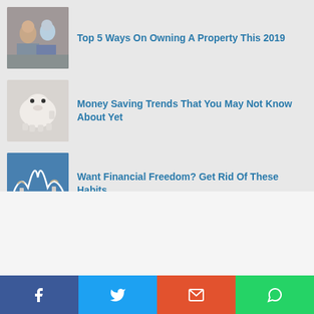[Figure (illustration): Thumbnail image of two people sitting on floor (property article)]
Top 5 Ways On Owning A Property This 2019
[Figure (photo): Thumbnail image of a white piggy bank]
Money Saving Trends That You May Not Know About Yet
[Figure (photo): Thumbnail image of hands with scissors cutting a cord against blue sky]
Want Financial Freedom? Get Rid Of These Habits
[Figure (screenshot): Advertisement banner: Become a master of shooter! DOWNLOAD NOW]
[Figure (infographic): Social share bar with Facebook, Twitter, Email, WhatsApp icons]